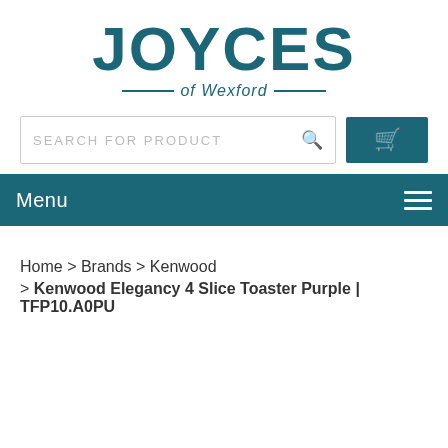[Figure (logo): Joyces of Wexford logo with large bold teal JOYCES text and decorative lines flanking 'of Wexford' subtitle]
SEARCH FOR PRODUCT [search icon] [cart button]
Menu [hamburger icon]
Home > Brands > Kenwood > Kenwood Elegancy 4 Slice Toaster Purple | TFP10.A0PU